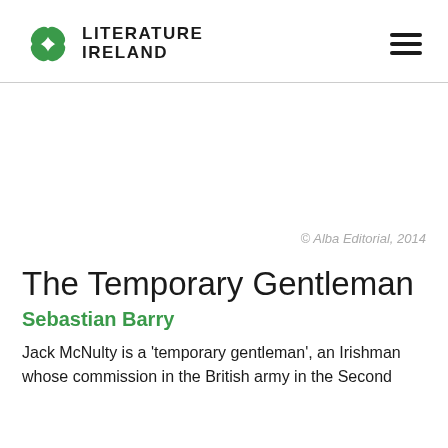LITERATURE IRELAND
© Alba Editorial, 2014
The Temporary Gentleman
Sebastian Barry
Jack McNulty is a 'temporary gentleman', an Irishman whose commission in the British army in the Second